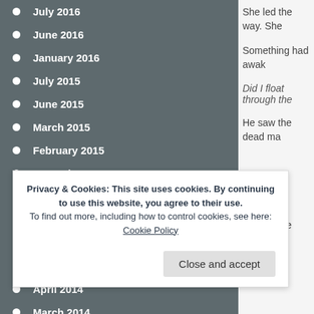July 2016
June 2016
January 2016
July 2015
June 2015
March 2015
February 2015
November 2014
October 2014
September 2014
July 2014
June 2014
April 2014
March 2014
February 2014
She led the way. She
Something had awak
Did I float through the
He saw the dead ma
The corpse was of a
Privacy & Cookies: This site uses cookies. By continuing to use this website, you agree to their use. To find out more, including how to control cookies, see here: Cookie Policy
Close and accept